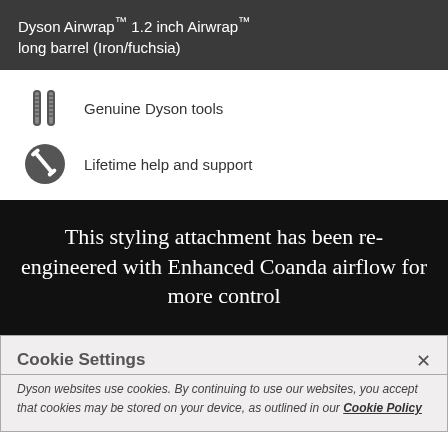Dyson Airwrap™ 1.2 inch Airwrap™ long barrel (Iron/fuchsia)
Genuine Dyson tools
Lifetime help and support
This styling attachment has been re-engineered with Enhanced Coanda airflow for more control
Cookie Settings
Dyson websites use cookies. By continuing to use our websites, you accept that cookies may be stored on your device, as outlined in our Cookie Policy